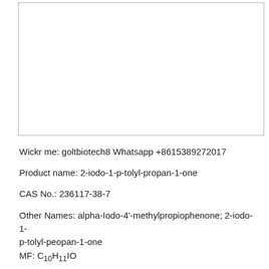[Figure (other): Empty white box with border — likely a molecular structure diagram placeholder]
Wickr me: goltbiotech8 Whatsapp +8615389272017
Product name: 2-iodo-1-p-tolyl-propan-1-one
CAS No.: 236117-38-7
Other Names: alpha-Iodo-4'-methylpropiophenone; 2-iodo-1-p-tolyl-peopan-1-one
MF: C10H11IO